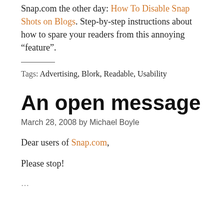Snap.com the other day: How To Disable Snap Shots on Blogs. Step-by-step instructions about how to spare your readers from this annoying “feature”.
Tags: Advertising, Blork, Readable, Usability
An open message
March 28, 2008 by Michael Boyle
Dear users of Snap.com,
Please stop!
(truncated/clipped at bottom)